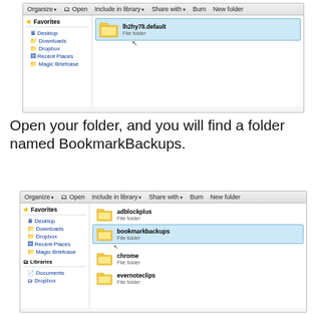[Figure (screenshot): Windows Explorer showing a folder named lh2hy7lI.default selected, with Favorites sidebar showing Desktop, Downloads, Dropbox, Recent Places, Magic Briefcase]
Open your folder, and you will find a folder named BookmarkBackups.
[Figure (screenshot): Windows Explorer showing folders: adblockplus, bookmarkbackups (selected/highlighted), chrome, evernoteclips. Sidebar shows Favorites (Desktop, Downloads, Dropbox, Recent Places, Magic Briefcase) and Libraries (Documents, Dropbox)]